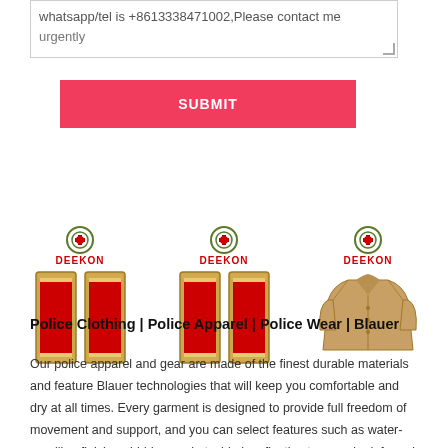whatsapp/tel is +8613338471002,Please contact me urgently
[Figure (other): Submit button - red/pink background with white bold SUBMIT text]
[Figure (other): Three product cards each with Deekon logo. First two show military shoulder boards (pair and single) with red and gold design. Third shows a tan/khaki military coat/uniform.]
Police Clothing | Police Apparel | Police Wear | Blauer
Our police apparel and gear are made of the finest durable materials and feature Blauer technologies that will keep you comfortable and dry at all times. Every garment is designed to provide full freedom of movement and support, and you can select features such as water-repelling finishes, hidden pockets, hi-vis reflective tape and reinforced